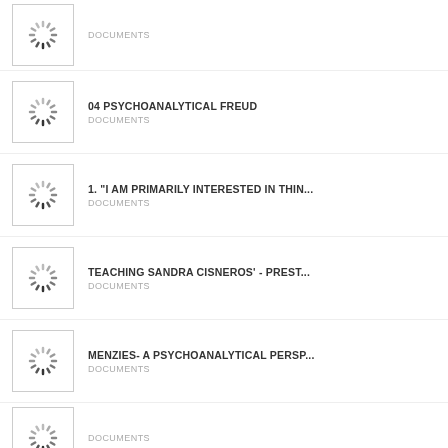DOCUMENTS
04 PSYCHOANALYTICAL FREUD
DOCUMENTS
1. "I AM PRIMARILY INTERESTED IN THIN...
DOCUMENTS
TEACHING SANDRA CISNEROS' - PREST...
DOCUMENTS
MENZIES- A PSYCHOANALYTICAL PERSP...
DOCUMENTS
DOCUMENTS